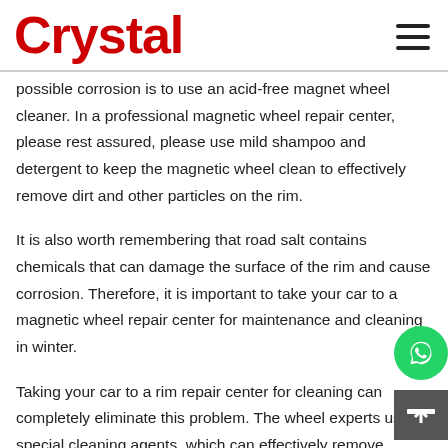Crystal
possible corrosion is to use an acid-free magnet wheel cleaner. In a professional magnetic wheel repair center, please rest assured, please use mild shampoo and detergent to keep the magnetic wheel clean to effectively remove dirt and other particles on the rim.
It is also worth remembering that road salt contains chemicals that can damage the surface of the rim and cause corrosion. Therefore, it is important to take your car to a magnetic wheel repair center for maintenance and cleaning in winter.
Taking your car to a rim repair center for cleaning can completely eliminate this problem. The wheel experts use special cleaning agents, which can effectively remove serious pitting and other particles, so as to protect you from permanent damage and save expensive magnetic wheel replacement costs.